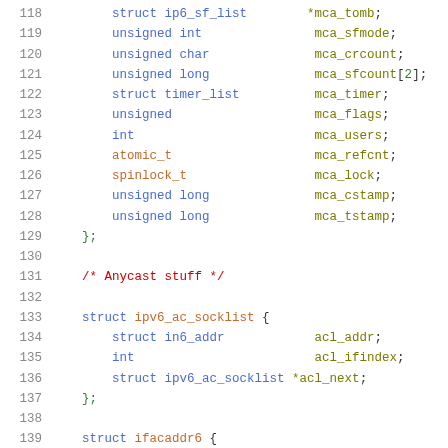[Figure (screenshot): Source code snippet showing C struct definitions for IPv6 multicast and anycast socket lists, lines 118-139, with syntax highlighting.]